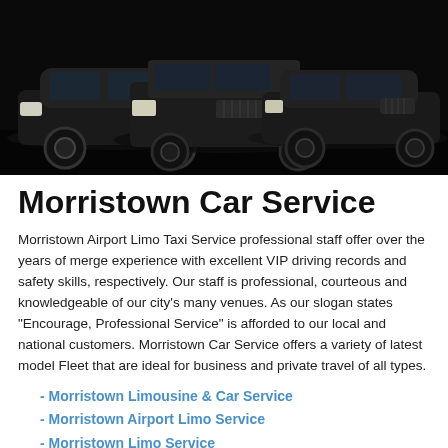[Figure (photo): Three black luxury vehicles parked together against a dark background — a Lincoln Town Car sedan, a Chevrolet Suburban SUV, and another Lincoln Town Car sedan.]
Morristown Car Service
Morristown Airport Limo Taxi Service professional staff offer over the years of merge experience with excellent VIP driving records and safety skills, respectively. Our staff is professional, courteous and knowledgeable of our city's many venues. As our slogan states "Encourage, Professional Service" is afforded to our local and national customers. Morristown Car Service offers a variety of latest model Fleet that are ideal for business and private travel of all types.
- Morristown Limousine & Car Service
- Morristown Airport Limo Service
- Morristown Limo Service
- Limo and Airport Car Service in Morristown NJ